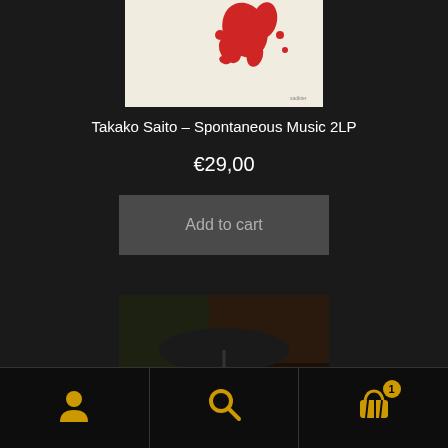[Figure (photo): Album cover with red ink/paint splash on white background]
Takako Saito – Spontaneous Music 2LP
€29,00
Add to cart
[Figure (photo): Person in dark clothing holding a black umbrella in a dimly lit room with a piano in the background]
[Figure (infographic): Bottom navigation bar with user, search, and shopping cart (badge showing 1) icons in gold/yellow color on black background]